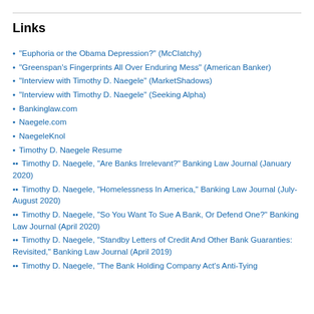Links
"Euphoria or the Obama Depression?" (McClatchy)
"Greenspan's Fingerprints All Over Enduring Mess" (American Banker)
"Interview with Timothy D. Naegele" (MarketShadows)
"Interview with Timothy D. Naegele" (Seeking Alpha)
Bankinglaw.com
Naegele.com
NaegeleKnol
Timothy D. Naegele Resume
Timothy D. Naegele, "Are Banks Irrelevant?" Banking Law Journal (January 2020)
Timothy D. Naegele, "Homelessness In America," Banking Law Journal (July-August 2020)
Timothy D. Naegele, "So You Want To Sue A Bank, Or Defend One?" Banking Law Journal (April 2020)
Timothy D. Naegele, "Standby Letters of Credit And Other Bank Guaranties: Revisited," Banking Law Journal (April 2019)
Timothy D. Naegele, "The Bank Holding Company Act's Anti-Tying